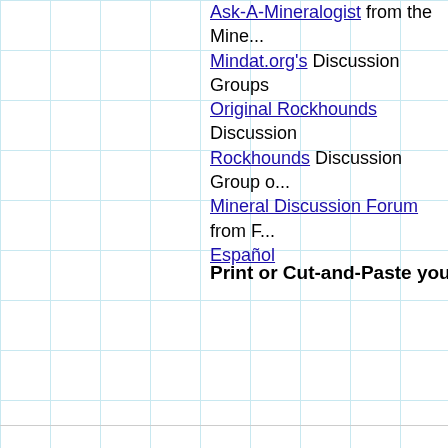Ask-A-Mineralogist from the Mine... Mindat.org's Discussion Groups Original Rockhounds Discussion Rockhounds Discussion Group o... Mineral Discussion Forum from F... Español
Print or Cut-and-Paste your Gre...
| Greigite |
| Fe++Fe+++2S4 |
| Dana No: 02.10.01.10 Strunz No: 02.DA.05 |
| Locality: |
| Notes: |
Print this Label